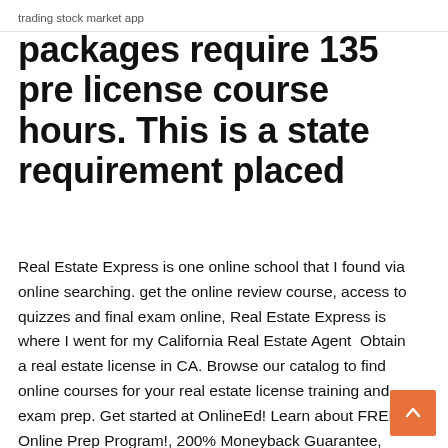trading stock market app
packages require 135 pre license course hours. This is a state requirement placed
Real Estate Express is one online school that I found via online searching. get the online review course, access to quizzes and final exam online, Real Estate Express is where I went for my California Real Estate Agent  Obtain a real estate license in CA. Browse our catalog to find online courses for your real estate license training and exam prep. Get started at OnlineEd! Learn about FREE Online Prep Program!, 200% Moneyback Guarantee, State's Top Instructor, Drive & Prep Audio, Low Cost to get California Real Estate  Learn more about the top Online Real Estate Schools and read user reviews to help you decide which option is best for you to kickstart your real estate career. California. The best online real estate school in California. All courses to review and study the best courses of the